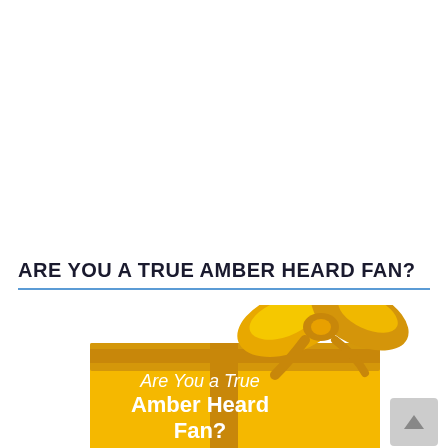ARE YOU A TRUE AMBER HEARD FAN?
[Figure (illustration): A yellow gift box with a golden ribbon/bow on top. Text on the box reads 'Are You a True Amber Heard Fan?' in white text. Partial view showing the top and front of the box, with ribbon details and bow visible at upper right.]